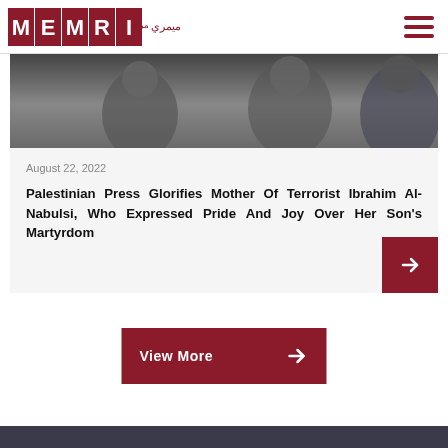MEMRI logo and navigation
[Figure (photo): Photograph of people, partially cropped at top of article card]
August 22, 2022
Palestinian Press Glorifies Mother Of Terrorist Ibrahim Al-Nabulsi, Who Expressed Pride And Joy Over Her Son's Martyrdom
View More